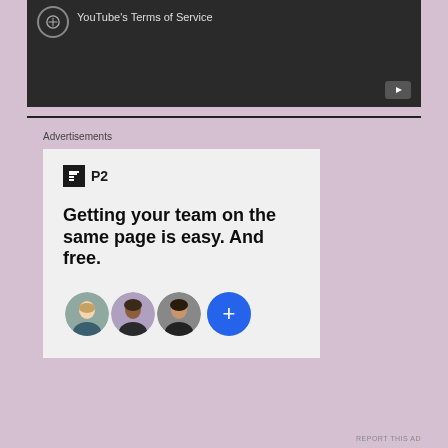[Figure (screenshot): Dark video player area showing YouTube Terms of Service text with a circular icon and YouTube play button in bottom-right corner]
Advertisements
[Figure (infographic): P2 advertisement with logo, headline 'Getting your team on the same page is easy. And free.' and three circular profile photos plus a blue plus button]
REPORT THIS AD